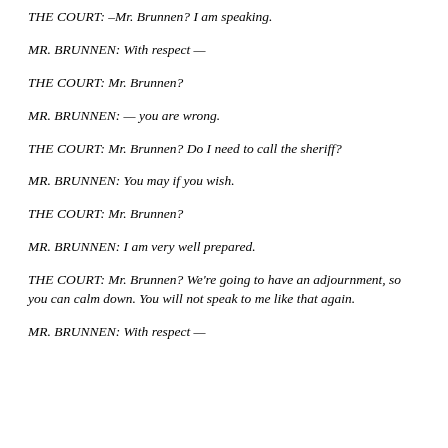THE COURT: –Mr. Brunnen? I am speaking.
MR. BRUNNEN: With respect —
THE COURT: Mr. Brunnen?
MR. BRUNNEN: — you are wrong.
THE COURT: Mr. Brunnen? Do I need to call the sheriff?
MR. BRUNNEN: You may if you wish.
THE COURT: Mr. Brunnen?
MR. BRUNNEN: I am very well prepared.
THE COURT: Mr. Brunnen? We're going to have an adjournment, so you can calm down. You will not speak to me like that again.
MR. BRUNNEN: With respect —